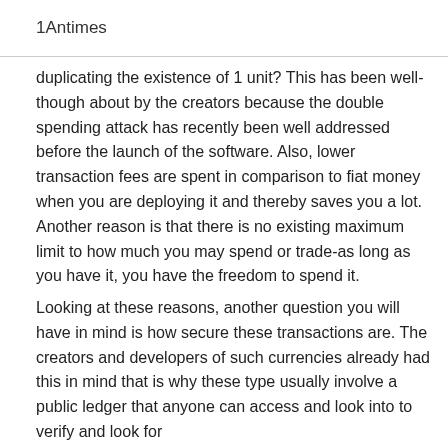1Antimes
duplicating the existence of 1 unit? This has been well-though about by the creators because the double spending attack has recently been well addressed before the launch of the software. Also, lower transaction fees are spent in comparison to fiat money when you are deploying it and thereby saves you a lot. Another reason is that there is no existing maximum limit to how much you may spend or trade-as long as you have it, you have the freedom to spend it.
Looking at these reasons, another question you will have in mind is how secure these transactions are. The creators and developers of such currencies already had this in mind that is why these type usually involve a public ledger that anyone can access and look into to verify and look for